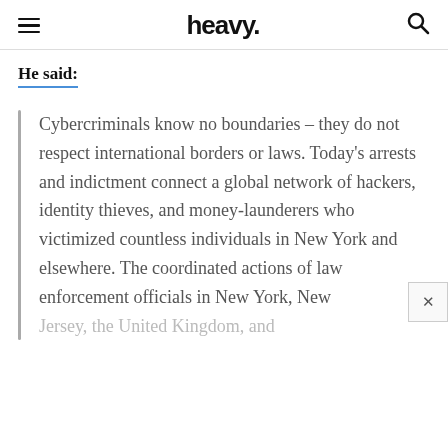heavy.
He said:
Cybercriminals know no boundaries – they do not respect international borders or laws. Today's arrests and indictment connect a global network of hackers, identity thieves, and money-launderers who victimized countless individuals in New York and elsewhere. The coordinated actions of law enforcement officials in New York, New Jersey, the United Kingdom, and